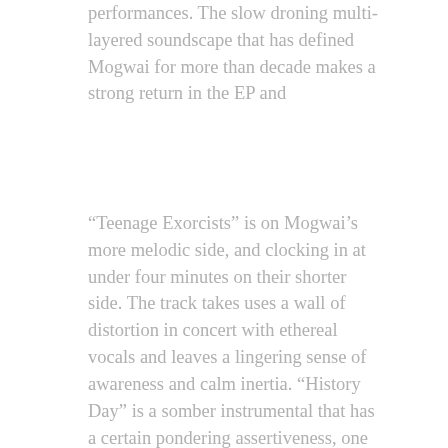performances. The slow droning multi-layered soundscape that has defined Mogwai for more than decade makes a strong return in the EP and
“Teenage Exorcists” is on Mogwai’s more melodic side, and clocking in at under four minutes on their shorter side. The track takes uses a wall of distortion in concert with ethereal vocals and leaves a lingering sense of awareness and calm inertia. “History Day” is a somber instrumental that has a certain pondering assertiveness, one can almost visualize time’s passage through the synth pad’s clash with the fuzzed guitar feedback and minimal percussion. “HMP Shaun William Ryder” is a slightly more guitar centric track that builds gradual